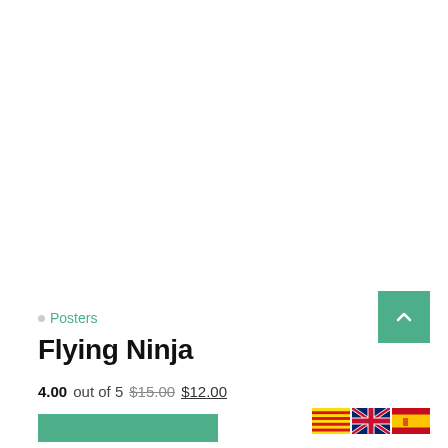Posters
Flying Ninja
4.00 out of 5  $15.00  $12.00
[Figure (other): Green 'back to top' button with upward chevron arrow]
[Figure (other): Three country flag icons: Catalan, UK, and Spanish flags]
[Figure (other): Green 'Add to cart' button (partially visible at bottom)]